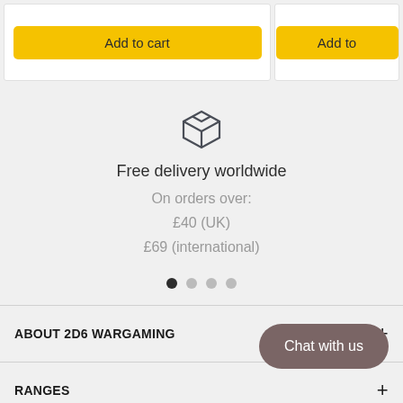[Figure (screenshot): Two product cards with yellow 'Add to cart' buttons, partially visible at top of page]
[Figure (illustration): Box/package icon representing shipping or delivery]
Free delivery worldwide
On orders over:
£40 (UK)
£69 (international)
ABOUT 2D6 WARGAMING
RANGES
Chat with us